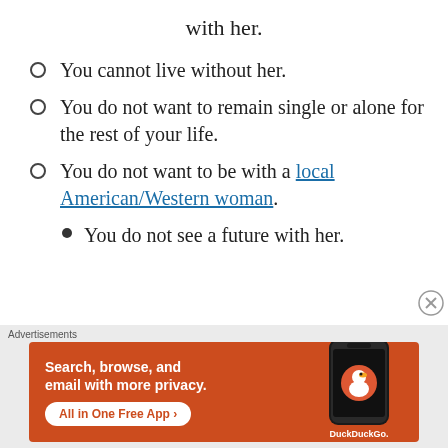with her.
You cannot live without her.
You do not want to remain single or alone for the rest of your life.
You do not want to be with a local American/Western woman.
You do not see a future with her.
[Figure (other): DuckDuckGo advertisement banner: orange background with text 'Search, browse, and email with more privacy.' and button 'All in One Free App', with a phone image and DuckDuckGo logo on the right.]